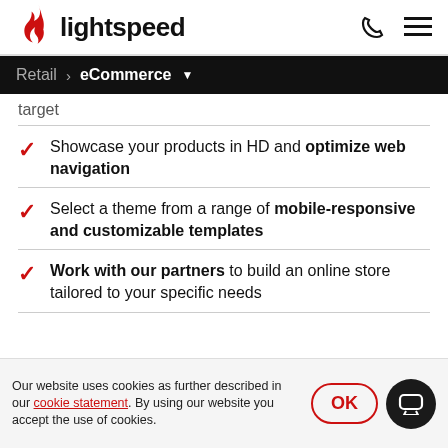lightspeed [logo with phone and menu icons]
Retail > eCommerce ▼
target
Showcase your products in HD and optimize web navigation
Select a theme from a range of mobile-responsive and customizable templates
Work with our partners to build an online store tailored to your specific needs
Our website uses cookies as further described in our cookie statement. By using our website you accept the use of cookies.